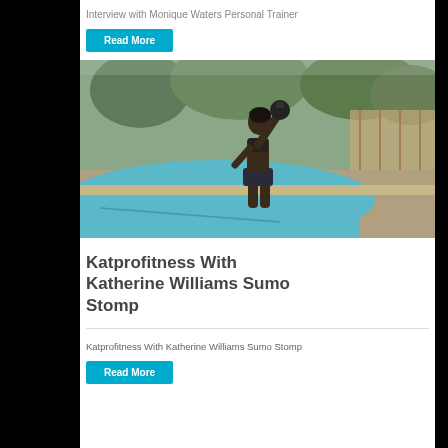Interview with Monique Waters Personal Trainer
Read More
[Figure (photo): Woman in athletic wear holding a kettlebell standing by an outdoor swimming pool with trees in the background]
Katprofitness With Katherine Williams Sumo Stomp
Katprofitness With Katherine Williams Sumo Stomp
Read More